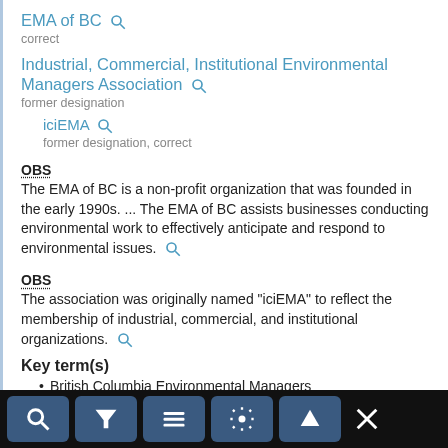EMA of BC
correct
Industrial, Commercial, Institutional Environmental Managers Association
former designation
iciEMA
former designation, correct
OBS
The EMA of BC is a non-profit organization that was founded in the early 1990s. ... The EMA of BC assists businesses conducting environmental work to effectively anticipate and respond to environmental issues.
OBS
The association was originally named "iciEMA" to reflect the membership of industrial, commercial, and institutional organizations.
Key term(s)
British Columbia Environmental Managers